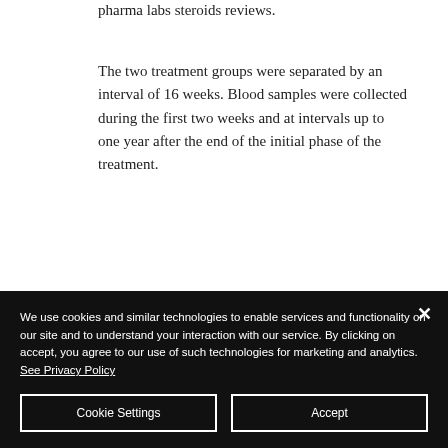pharma labs steroids reviews.
The two treatment groups were separated by an interval of 16 weeks. Blood samples were collected during the first two weeks and at intervals up to one year after the end of the initial phase of the treatment.
Anavar is for burning fat, while Winstrol is
We use cookies and similar technologies to enable services and functionality on our site and to understand your interaction with our service. By clicking on accept, you agree to our use of such technologies for marketing and analytics. See Privacy Policy
Cookie Settings
Accept